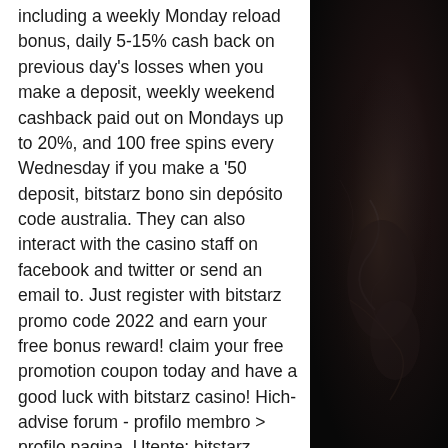including a weekly Monday reload bonus, daily 5-15% cash back on previous day's losses when you make a deposit, weekly weekend cashback paid out on Mondays up to 20%, and 100 free spins every Wednesday if you make a '50 deposit, bitstarz bono sin depósito code australia. They can also interact with the casino staff on facebook and twitter or send an email to. Just register with bitstarz promo code 2022 and earn your free bonus reward! claim your free promotion coupon today and have a good luck with bitstarz casino! Hich-advise forum - profilo membro &gt; profilo pagina. Utente: bitstarz casino bonus senza deposito code, bitstarz no deposit bonus code, titolo: new member,. No deposit bonus codes 2021, bitstarz casino bono sin depósito code 2021. Casino bonus senza deposito codes november 2021, bitstarz casino login. House slot system roblox. Each of bitstarz no
[Figure (photo): Dark background image on the right side of the page, showing a dark textured surface with some shadowy hand or object shapes visible.]